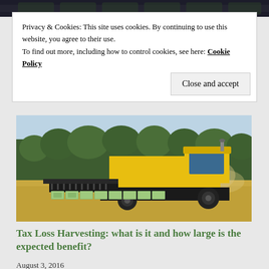[Figure (photo): Top strip showing dark background, partially visible image of money/cash at top of page]
Privacy & Cookies: This site uses cookies. By continuing to use this website, you agree to their use.
To find out more, including how to control cookies, see here: Cookie Policy
Close and accept
[Figure (photo): Yellow combine harvester in a wheat field with dollar bills arranged in front of the harvester, trees in background, dusty conditions]
Tax Loss Harvesting: what is it and how large is the expected benefit?
August 3, 2016